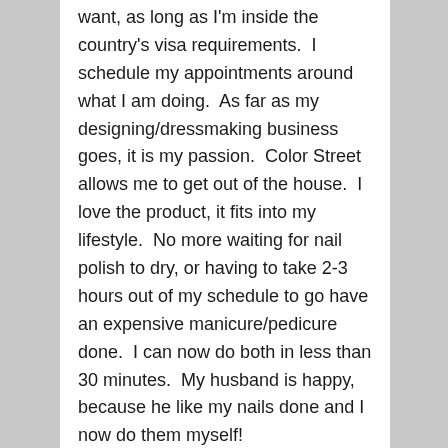want, as long as I'm inside the country's visa requirements.  I schedule my appointments around what I am doing.  As far as my designing/dressmaking business goes, it is my passion.  Color Street allows me to get out of the house.  I love the product, it fits into my lifestyle.  No more waiting for nail polish to dry, or having to take 2-3 hours out of my schedule to go have an expensive manicure/pedicure done.  I can now do both in less than 30 minutes.  My husband is happy, because he like my nails done and I now do them myself!
PM:  What are your next goals?
MI:  As far as my Designing/Dressmaking business my goal is to continue meeting